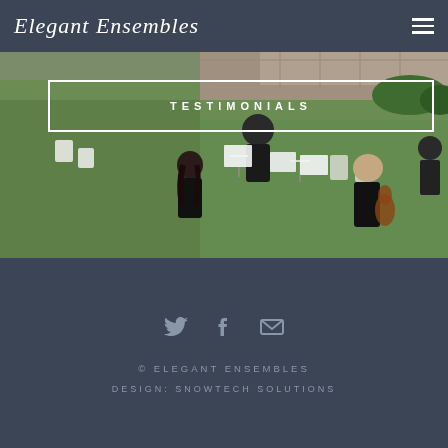Elegant Ensembles
[Figure (photo): Aerial/overhead view of string musicians performing outdoors on a grass lawn at what appears to be a wedding or outdoor event. Musicians are seated in black attire with white music stands, visible from above.]
TESTIMONIALS
[Figure (infographic): Social media icons: Twitter bird icon, Facebook f icon, and envelope/email icon, displayed in a row on dark background]
© ELEGANT ENSEMBLES
DESIGN: SNOWTECH SOLUTIONS